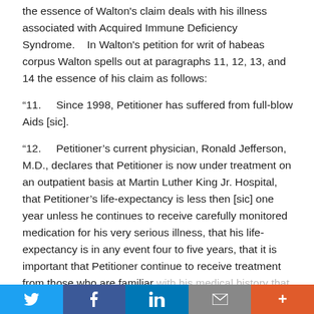the essence of Walton's claim deals with his illness associated with Acquired Immune Deficiency Syndrome.    In Walton's petition for writ of habeas corpus Walton spells out at paragraphs 11, 12, 13, and 14 the essence of his claim as follows:
"11.     Since 1998, Petitioner has suffered from full-blow Aids [sic].
"12.     Petitioner's current physician, Ronald Jefferson, M.D., declares that Petitioner is now under treatment on an outpatient basis at Martin Luther King Jr. Hospital, that Petitioner's life-expectancy is less then [sic] one year unless he continues to receive carefully monitored medication for his very serious illness, that his life-expectancy is in any event four to five years, that it is important that Petitioner continue to receive treatment from those who are familiar with his medical history that treatment is Petitioner...
Twitter | Facebook | LinkedIn | Email | More